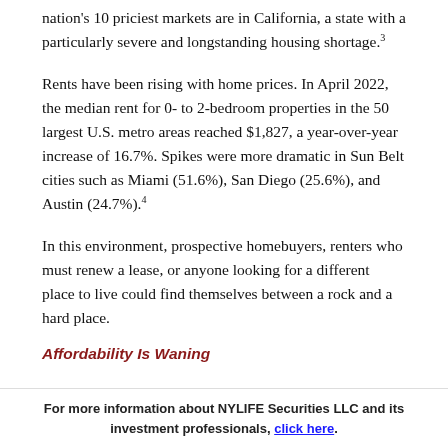nation's 10 priciest markets are in California, a state with a particularly severe and longstanding housing shortage.³
Rents have been rising with home prices. In April 2022, the median rent for 0- to 2-bedroom properties in the 50 largest U.S. metro areas reached $1,827, a year-over-year increase of 16.7%. Spikes were more dramatic in Sun Belt cities such as Miami (51.6%), San Diego (25.6%), and Austin (24.7%).⁴
In this environment, prospective homebuyers, renters who must renew a lease, or anyone looking for a different place to live could find themselves between a rock and a hard place.
Affordability Is Waning
For more information about NYLIFE Securities LLC and its investment professionals, click here.